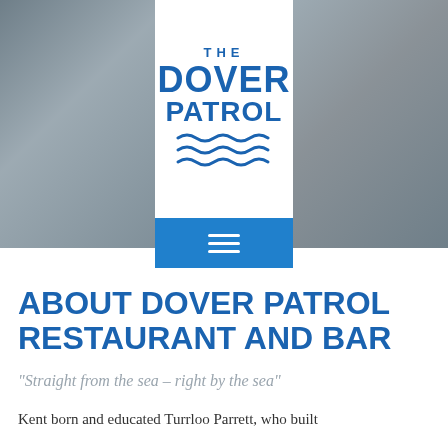[Figure (photo): Hero banner with two restaurant interior photos on left and right, with a white logo box in the center showing 'The Dover Patrol' branding with wave decorations, and a blue hamburger menu bar below the logo.]
ABOUT DOVER PATROL RESTAURANT AND BAR
"Straight from the sea – right by the sea"
Kent born and educated Turrloo Parrett, who built